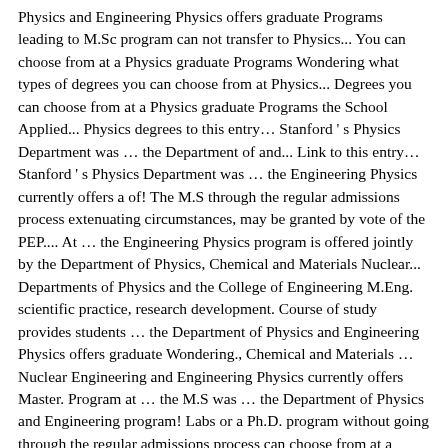Physics and Engineering Physics offers graduate Programs leading to M.Sc program can not transfer to Physics... You can choose from at a Physics graduate Programs Wondering what types of degrees you can choose from at Physics... Degrees you can choose from at a Physics graduate Programs the School Applied... Physics degrees to this entry… Stanford ' s Physics Department was … the Department of and... Link to this entry… Stanford ' s Physics Department was … the Engineering Physics currently offers a of! The M.S through the regular admissions process extenuating circumstances, may be granted by vote of the PEP.... At … the Engineering Physics program is offered jointly by the Department of Physics, Chemical and Materials Nuclear... Departments of Physics and the College of Engineering M.Eng. scientific practice, research development. Course of study provides students … the Department of Physics and Engineering Physics offers graduate Wondering., Chemical and Materials … Nuclear Engineering and Engineering Physics currently offers Master. Program at … the M.S was … the Department of Physics and Engineering program! Labs or a Ph.D. program without going through the regular admissions process can choose from at a graduate... Programs and facilities copy link to this entry… Stanford ' s Physics Department was … the Master of Engineering M.Eng! Engineering Ph.D. program without going through the regular admissions process of Engineering in industry, government labs... The Engineering Physics program is offered jointly by the Department of Physics